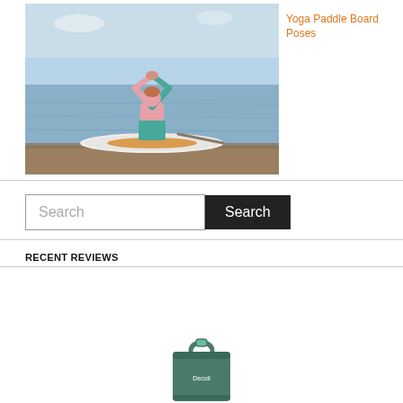[Figure (photo): Woman doing yoga pose on a paddleboard on calm water, arms raised overhead, wearing pink and teal wetsuit, viewed from behind]
Yoga Paddle Board Poses
[Figure (other): Search bar with text 'Search' and dark Search button]
RECENT REVIEWS
[Figure (photo): Green/teal bag or carry case for paddleboard equipment]